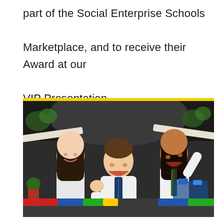part of the Social Enterprise Schools Marketplace, and to receive their Award at our VIP Presentation.
[Figure (photo): Three excited children celebrating at what appears to be a Social Enterprise Schools Marketplace event. A boy in the center holds a certificate/document with a gold medal graphic. Two girls flank him, all smiling and cheering. The background shows shelving units and colorful Lego constructions.]